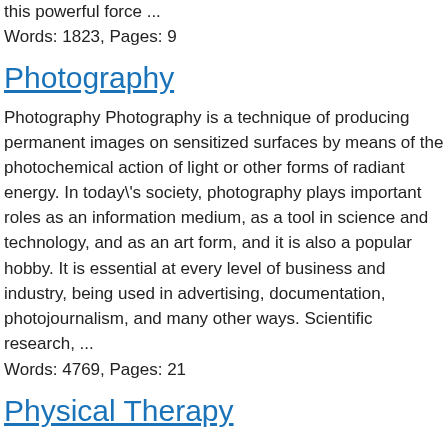this powerful force ...
Words: 1823, Pages: 9
Photography
Photography Photography is a technique of producing permanent images on sensitized surfaces by means of the photochemical action of light or other forms of radiant energy. In today\'s society, photography plays important roles as an information medium, as a tool in science and technology, and as an art form, and it is also a popular hobby. It is essential at every level of business and industry, being used in advertising, documentation, photojournalism, and many other ways. Scientific research, ...
Words: 4769, Pages: 21
Physical Therapy